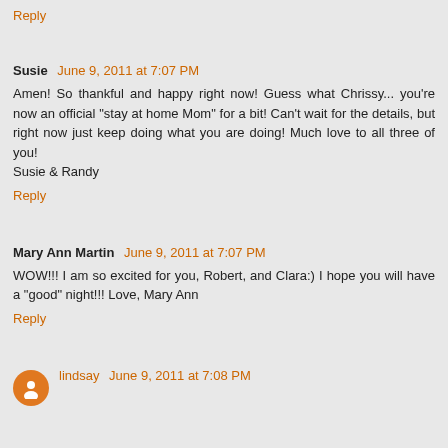Reply
Susie  June 9, 2011 at 7:07 PM
Amen! So thankful and happy right now! Guess what Chrissy... you're now an official "stay at home Mom" for a bit! Can't wait for the details, but right now just keep doing what you are doing! Much love to all three of you!
Susie & Randy
Reply
Mary Ann Martin  June 9, 2011 at 7:07 PM
WOW!!! I am so excited for you, Robert, and Clara:) I hope you will have a "good" night!!! Love, Mary Ann
Reply
lindsay  June 9, 2011 at 7:08 PM